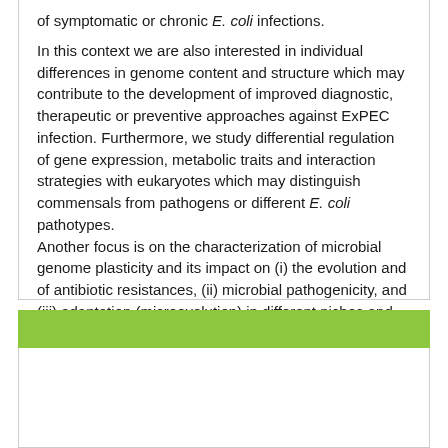of symptomatic or chronic E. coli infections.

In this context we are also interested in individual differences in genome content and structure which may contribute to the development of improved diagnostic, therapeutic or preventive approaches against ExPEC infection. Furthermore, we study differential regulation of gene expression, metabolic traits and interaction strategies with eukaryotes which may distinguish commensals from pathogens or different E. coli pathotypes.
Another focus is on the characterization of microbial genome plasticity and its impact on (i) the evolution and of antibiotic resistances, (ii) microbial pathogenicity, and (iii) adaptation (microevolution) in different niches and environments.
[Figure (other): Green header bar followed by white content area, part of a section block]